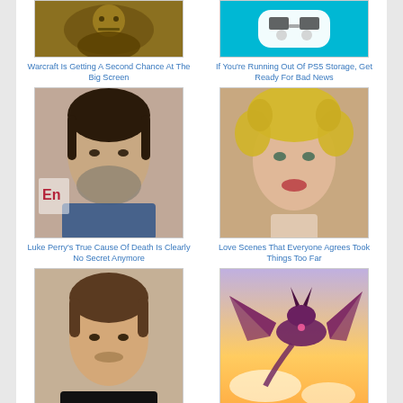[Figure (photo): Warcraft fantasy creature (troll/orc) in yellow-brown tones]
Warcraft Is Getting A Second Chance At The Big Screen
[Figure (photo): PS5 DualSense white controller on teal/cyan background]
If You're Running Out Of PS5 Storage, Get Ready For Bad News
[Figure (photo): Luke Perry — middle-aged man with salt-and-pepper beard, dark hair, wearing denim shirt, Entertainment Weekly backdrop]
Luke Perry's True Cause Of Death Is Clearly No Secret Anymore
[Figure (photo): Blonde woman with curly hair and makeup, glamour portrait]
Love Scenes That Everyone Agrees Took Things Too Far
[Figure (photo): MrBeast — young man with brown hair, black shirt, looking slightly to the side, indoor setting]
Tragic Details About MrBeast
[Figure (photo): Purple/dark dragon flying against a warm sunset sky with clouds — fantasy art]
After 14 Years Of Complaints, Blizzard Makes One Large Removal